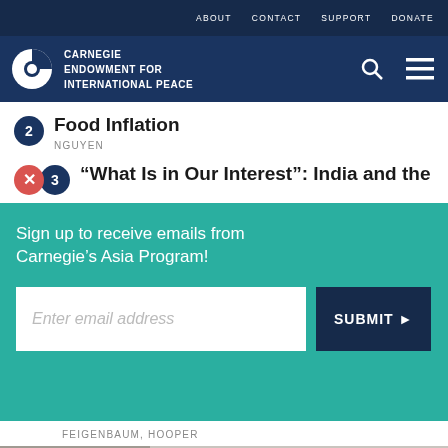ABOUT  CONTACT  SUPPORT  DONATE
[Figure (logo): Carnegie Endowment for International Peace logo with globe icon and navigation icons (search, menu)]
Food Inflation
NGUYEN
“What Is in Our Interest”: India and the
Sign up to receive emails from Carnegie’s Asia Program!
Enter email address
SUBMIT ►
FEIGENBAUM, HOOPER
Share icons: print, link, Facebook, Twitter, WhatsApp, Messenger, LinkedIn